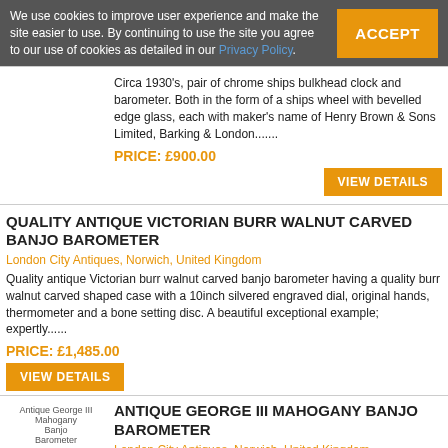We use cookies to improve user experience and make the site easier to use. By continuing to use the site you agree to our use of cookies as detailed in our Privacy Policy.
Circa 1930's, pair of chrome ships bulkhead clock and barometer. Both in the form of a ships wheel with bevelled edge glass, each with maker's name of Henry Brown & Sons Limited, Barking & London.......
PRICE: £900.00
VIEW DETAILS
QUALITY ANTIQUE VICTORIAN BURR WALNUT CARVED BANJO BAROMETER
London City Antiques, Norwich, United Kingdom
Quality antique Victorian burr walnut carved banjo barometer having a quality burr walnut carved shaped case with a 10inch silvered engraved dial, original hands, thermometer and a bone setting disc. A beautiful exceptional example; expertly......
PRICE: £1,485.00
VIEW DETAILS
ANTIQUE GEORGE III MAHOGANY BANJO BAROMETER
London City Antiques, Norwich, United Kingdom
Antique George III mahogany...